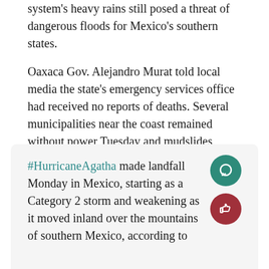system's heavy rains still posed a threat of dangerous floods for Mexico's southern states.
Oaxaca Gov. Alejandro Murat told local media the state's emergency services office had received no reports of deaths. Several municipalities near the coast remained without power Tuesday and mudslides blocked a number of the state's highways.
San Isidro del Palmar, only a couple miles inland from the coast, was swamped by the Tonameca River flowing through town.
#HurricaneAgatha made landfall Monday in Mexico, starting as a Category 2 storm and weakening as it moved inland over the mountains of southern Mexico, according to